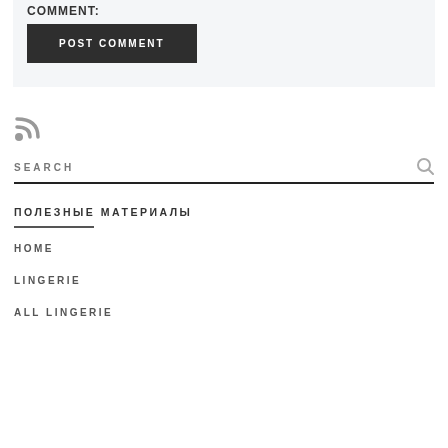COMMENT:
POST COMMENT
[Figure (other): RSS feed icon]
SEARCH
ПОЛЕЗНЫЕ МАТЕРИАЛЫ
HOME
LINGERIE
ALL LINGERIE